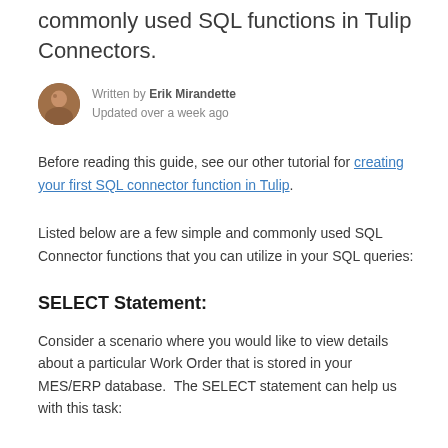commonly used SQL functions in Tulip Connectors.
Written by Erik Mirandette
Updated over a week ago
Before reading this guide, see our other tutorial for creating your first SQL connector function in Tulip.
Listed below are a few simple and commonly used SQL Connector functions that you can utilize in your SQL queries:
SELECT Statement:
Consider a scenario where you would like to view details about a particular Work Order that is stored in your MES/ERP database.  The SELECT statement can help us with this task: